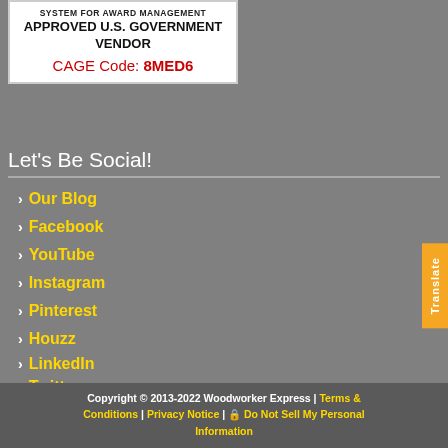[Figure (logo): System for Award Management - Approved U.S. Government Vendor badge with CAGE Code: 8MED6]
Let's Be Social!
Our Blog
Facebook
YouTube
Instagram
Pinterest
Houzz
LinkedIn
Twitter
Users online:  763 anonymous customer(s) , 25 registered customer(s)
Copyright © 2013-2022 Woodworker Express | Terms & Conditions | Privacy Notice |  Do Not Sell My Personal Information